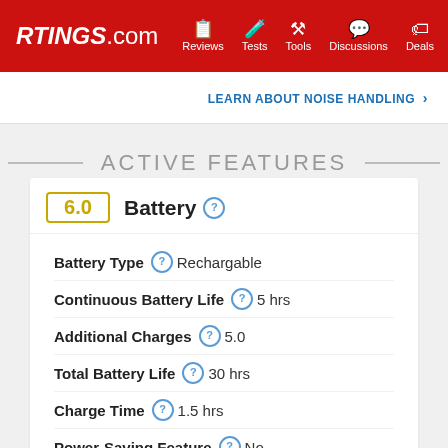RTINGS.com | Reviews | Tests | Tools | Discussions | Deals
LEARN ABOUT NOISE HANDLING >
ACTIVE FEATURES
6.0 Battery
| Feature | Value |
| --- | --- |
| Battery Type | Rechargable |
| Continuous Battery Life | 5 hrs |
| Additional Charges | 5.0 |
| Total Battery Life | 30 hrs |
| Charge Time | 1.5 hrs |
| Power-Saving Feature | No |
| Audio While Charging | Yes |